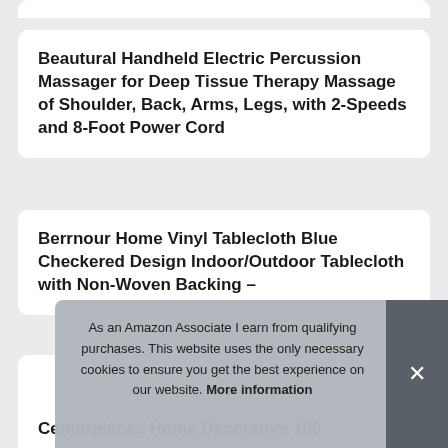Beautural Handheld Electric Percussion Massager for Deep Tissue Therapy Massage of Shoulder, Back, Arms, Legs, with 2-Speeds and 8-Foot Power Cord
Berrnour Home Vinyl Tablecloth Blue Checkered Design Indoor/Outdoor Tablecloth with Non-Woven Backing –
As an Amazon Associate I earn from qualifying purchases. This website uses the only necessary cookies to ensure you get the best experience on our website. More information
Centerpieces Home Decorative 100